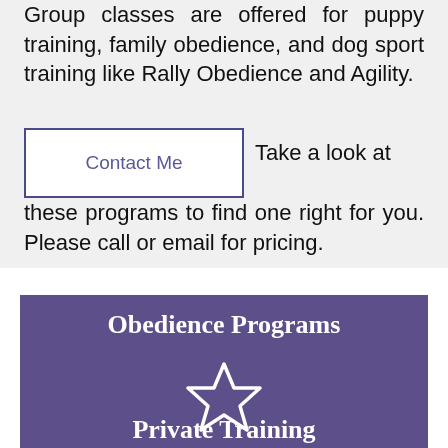Group classes are offered for puppy training, family obedience, and dog sport training like Rally Obedience and Agility.
[Figure (other): Contact Me button with purple border, white background, purple text]
Take a look at these programs to find one right for you. Please call or email for pricing.
Obedience Programs
[Figure (illustration): White outlined star icon on purple background]
Private Training